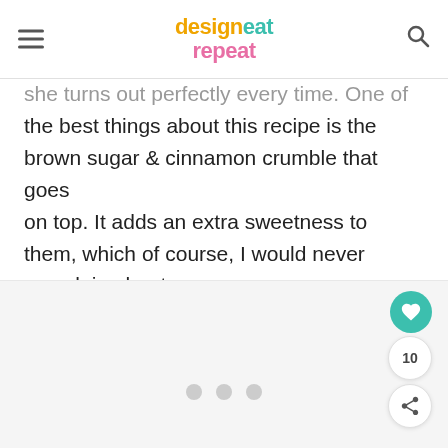design eat repeat
she turns out perfectly every time. One of the best things about this recipe is the brown sugar & cinnamon crumble that goes on top. It adds an extra sweetness to them, which of course, I would never complain about.
[Figure (photo): Image area with carousel dots indicator at the bottom and floating action buttons (heart/like, count 10, share) on the right side]